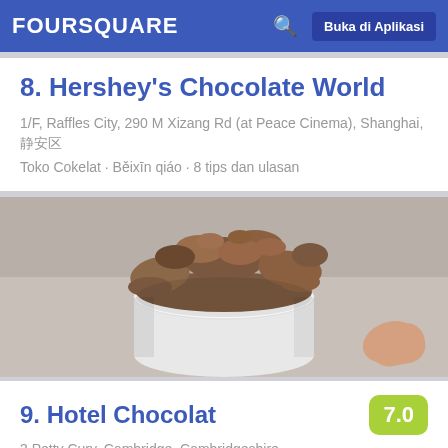FOURSQUARE  Buka di Aplikasi
8. Hershey's Chocolate World
1/F, Raffles City, 290 M Xizang Rd (at Peace Cinema), Shanghai, 静安区
Toko Cokelat · Běixīn qiáo · 8 tips dan ulasan
[Figure (photo): Close-up photo of a white cup filled with chocolate ice cream or crumbled chocolate topping, held by a hand, against a light blurred background.]
9. Hotel Chocolat
3 Petty Cury, Cambridge, Cambridgeshire